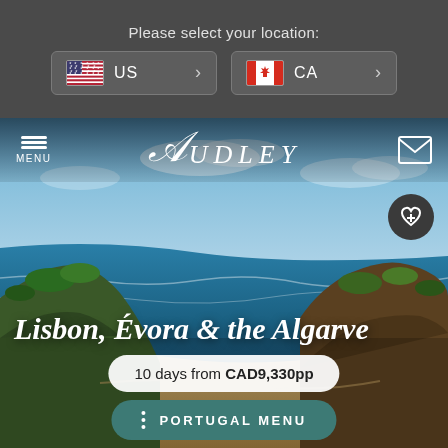Please select your location:
US
CA
[Figure (screenshot): Audley Travel website screenshot showing location selection overlay with US and CA buttons above a hero image of the Portuguese Algarve coastline, with site navigation (MENU, Audley logo, mail icon), a wishlist heart button, the destination title 'Lisbon, Évora & the Algarve', a price pill '10 days from CAD9,330pp', and a teal 'PORTUGAL MENU' button.]
Lisbon, Évora & the Algarve
10 days from CAD9,330pp
PORTUGAL MENU